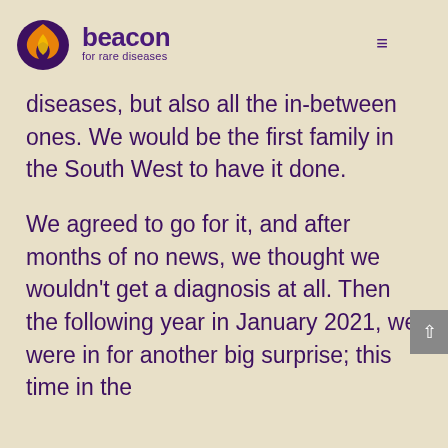beacon for rare diseases
diseases, but also all the in-between ones. We would be the first family in the South West to have it done.
We agreed to go for it, and after months of no news, we thought we wouldn't get a diagnosis at all. Then the following year in January 2021, we were in for another big surprise; this time in the form of a positive...